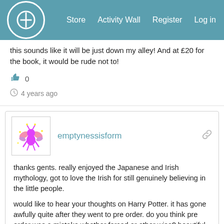Store  Activity Wall  Register  Log in
this sounds like it will be just down my alley! And at £20 for the book, it would be rude not to!
👍 0
🕐 4 years ago
emptynessisform
thanks gents. really enjoyed the Japanese and Irish mythology, got to love the Irish for still genuinely believing in the little people.
would like to hear your thoughts on Harry Potter. it has gone awfully quite after they went to pre order. do you think pre order was a mistake whether forced or other wise? beautiful models but what about the game ?
can we have a review of the crystal brush? pretty please. i could easily sit down and watch a show on each of the top three in all categories. beautiful miniatures are one of the main